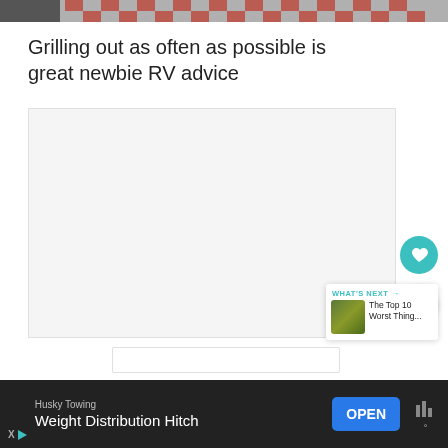[Figure (photo): Top portion of a photo showing a checkered red and white tablecloth, partially cropped]
Grilling out as often as possible is great newbie RV advice
[Figure (other): Large light gray content/ad placeholder box with heart and share action buttons on the right side, and a 'WHAT'S NEXT' card showing 'The Top 10 Worst Thing...']
[Figure (other): Partially visible white card at bottom]
[Figure (other): Advertisement banner at bottom: Husky Towing - Weight Distribution Hitch with OPEN button]